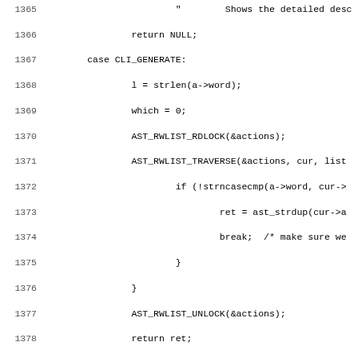[Figure (screenshot): Source code listing showing lines 1365-1396 of a C program with line numbers on the left and code on the right, including CLI_GENERATE case handling, AST_RWLIST macros, ifdef AST_XML_DOCS block, and term_color function calls.]